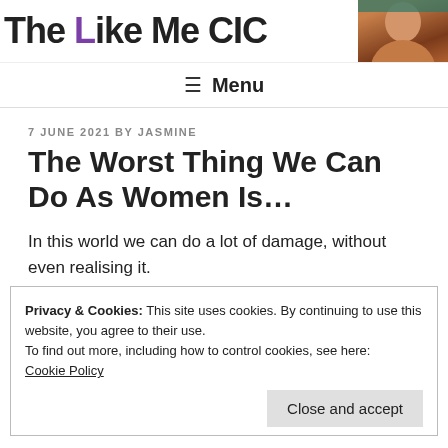The Like Me CIC [logo with photo]
Menu
7 JUNE 2021 BY JASMINE
The Worst Thing We Can Do As Women Is…
In this world we can do a lot of damage, without even realising it.
Privacy & Cookies: This site uses cookies. By continuing to use this website, you agree to their use.
To find out more, including how to control cookies, see here:
Cookie Policy
[Close and accept button]